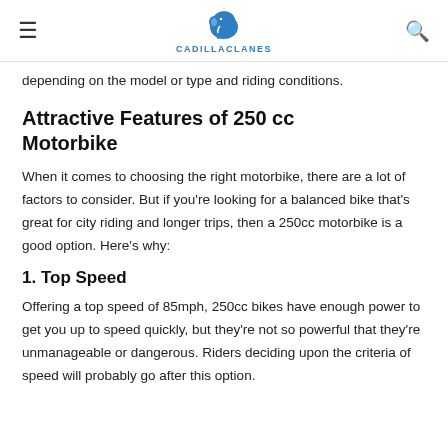≡  CADILLACLANES  🔍
depending on the model or type and riding conditions.
Attractive Features of 250 cc Motorbike
When it comes to choosing the right motorbike, there are a lot of factors to consider. But if you're looking for a balanced bike that's great for city riding and longer trips, then a 250cc motorbike is a good option. Here's why:
1. Top Speed
Offering a top speed of 85mph, 250cc bikes have enough power to get you up to speed quickly, but they're not so powerful that they're unmanageable or dangerous. Riders deciding upon the criteria of speed will probably go after this option.